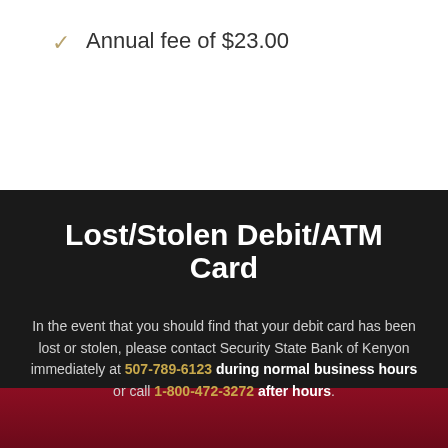Annual fee of $23.00
Lost/Stolen Debit/ATM Card
In the event that you should find that your debit card has been lost or stolen, please contact Security State Bank of Kenyon immediately at 507-789-6123 during normal business hours or call 1-800-472-3272 after hours.